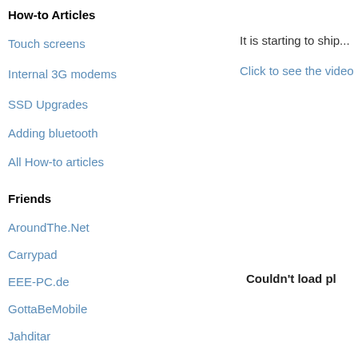How-to Articles
Touch screens
It is starting to ship...
Internal 3G modems
Click to see the video
SSD Upgrades
Adding bluetooth
All How-to articles
Friends
AroundThe.Net
Carrypad
EEE-PC.de
GottaBeMobile
Jahditar
jkOnTheRun
LAPTOP
Laptop GPS World
Liliputing
Couldn't load pl